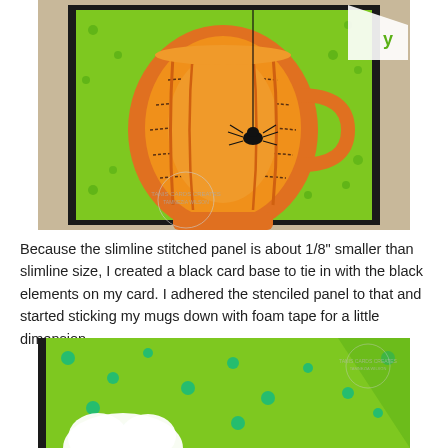[Figure (photo): Close-up photo of a Halloween craft card featuring an orange pumpkin-shaped mug with stitched detail lines and a black spider on it, set against a bright lime green background with small green polka dots and a black border]
Because the slimline stitched panel is about 1/8" smaller than slimline size, I created a black card base to tie in with the black elements on my card. I adhered the stenciled panel to that and started sticking my mugs down with foam tape for a little dimension.
[Figure (photo): Close-up photo of a Halloween craft card showing a lime green background with teal/green polka dot pattern and a white ghost or cloud-like element at the bottom edge]